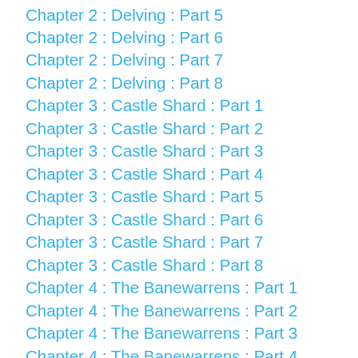Chapter 2 : Delving : Part 5
Chapter 2 : Delving : Part 6
Chapter 2 : Delving : Part 7
Chapter 2 : Delving : Part 8
Chapter 3 : Castle Shard : Part 1
Chapter 3 : Castle Shard : Part 2
Chapter 3 : Castle Shard : Part 3
Chapter 3 : Castle Shard : Part 4
Chapter 3 : Castle Shard : Part 5
Chapter 3 : Castle Shard : Part 6
Chapter 3 : Castle Shard : Part 7
Chapter 3 : Castle Shard : Part 8
Chapter 4 : The Banewarrens : Part 1
Chapter 4 : The Banewarrens : Part 2
Chapter 4 : The Banewarrens : Part 3
Chapter 4 : The Banewarrens : Part 4
Chapter 4 : The Banewarrens : Part 5
Chapter 4 : The Banewarrens : Part 6
Chapter 5 : The Quaan and Beyond : Part 1